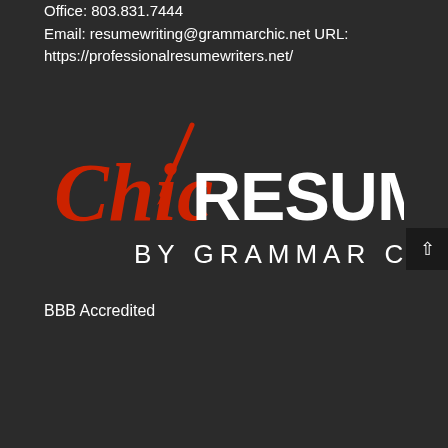Office: 803.831.7444
Email: resumewriting@grammarchic.net URL: https://professionalresumewriters.net/
[Figure (logo): Chic Resumes by Grammar Chic logo — 'Chic' in red cursive script with a red pencil/pen graphic, 'RESUMES' in large white bold sans-serif, 'BY GRAMMAR CHIC' in white spaced sans-serif below]
BBB Accredited